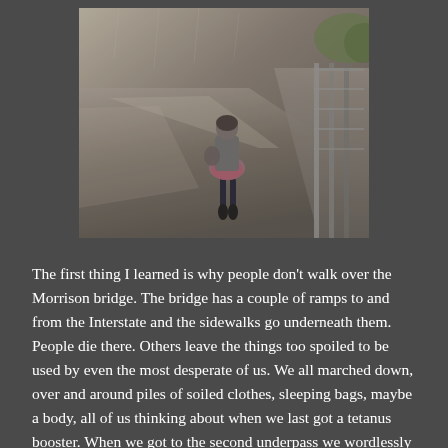[Figure (photo): Black and white / desaturated photo of a person walking away from the camera on a rainy bridge or overpass sidewalk, with a railing visible on the right and wet road surface. The person is wearing a skirt, dark tights, and boots, carrying a bag.]
The first thing I learned is why people don't walk over the Morrison bridge. The bridge has a couple of ramps to and from the Interstate and the sidewalks go underneath them. People die there. Others leave the things too spoiled to be used by even the most desperate of us. We all marched down, over and around piles of soiled clothes, sleeping bags, maybe a body, all of us thinking about when we last got a tetanus booster. When we got to the second underpass we wordlessly walked past it and right across the I-5 off ramp,